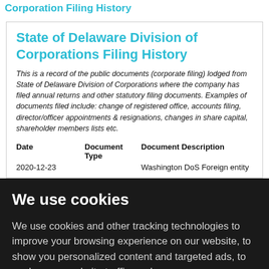Corporation Filing History
State of Delaware Division of Corporations Filing History
This is a record of the public documents (corporate filing) lodged from State of Delaware Division of Corporations where the company has filed annual returns and other statutory filing documents. Examples of documents filed include: change of registered office, accounts filing, director/officer appointments & resignations, changes in share capital, shareholder members lists etc.
| Date | Document Type | Document Description |
| --- | --- | --- |
| 2020-12-23 |  | Washington DoS Foreign entity |
We use cookies
We use cookies and other tracking technologies to improve your browsing experience on our website, to show you personalized content and targeted ads, to analyze our website traffic, and